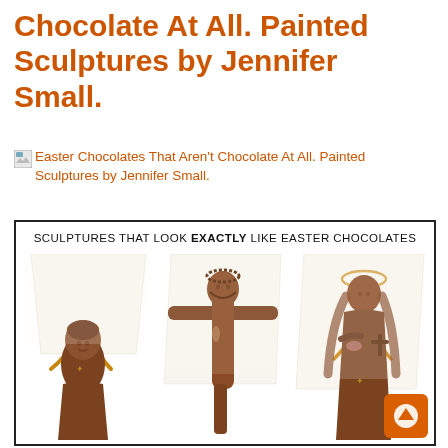Chocolate At All. Painted Sculptures by Jennifer Small.
[Figure (illustration): Broken image icon placeholder linking to 'Easter Chocolates That Aren't Chocolate At All. Painted Sculptures by Jennifer Small.' — shows broken image thumbnail icon followed by orange link text]
[Figure (photo): Photo of three chocolate-colored painted sculptures that look like Easter chocolates. Left: a child figure wrapped in translucent cellophane with a gold bow ribbon. Center: a crucified Jesus figure in brown chocolate color with cellophane. Right: a Mary/saint figure in brown wrapped in cellophane with gold bow. Text overlay at top reads 'SCULPTURES THAT LOOK EXACTLY LIKE EASTER CHOCOLATES'. An orange up-arrow button appears in bottom-right corner.]